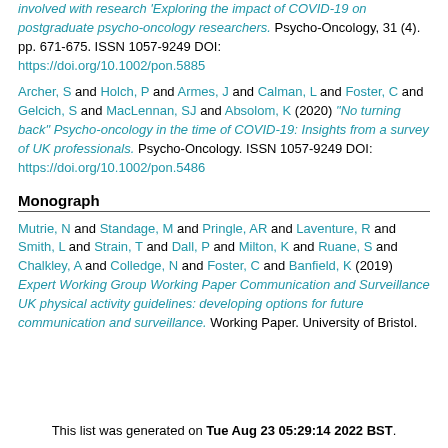involved with research 'Exploring the impact of COVID-19 on postgraduate psycho-oncology researchers.' Psycho-Oncology, 31 (4). pp. 671-675. ISSN 1057-9249 DOI: https://doi.org/10.1002/pon.5885
Archer, S and Holch, P and Armes, J and Calman, L and Foster, C and Gelcich, S and MacLennan, SJ and Absolom, K (2020) "No turning back" Psycho-oncology in the time of COVID-19: Insights from a survey of UK professionals. Psycho-Oncology. ISSN 1057-9249 DOI: https://doi.org/10.1002/pon.5486
Monograph
Mutrie, N and Standage, M and Pringle, AR and Laventure, R and Smith, L and Strain, T and Dall, P and Milton, K and Ruane, S and Chalkley, A and Colledge, N and Foster, C and Banfield, K (2019) Expert Working Group Working Paper Communication and Surveillance UK physical activity guidelines: developing options for future communication and surveillance. Working Paper. University of Bristol.
This list was generated on Tue Aug 23 05:29:14 2022 BST.